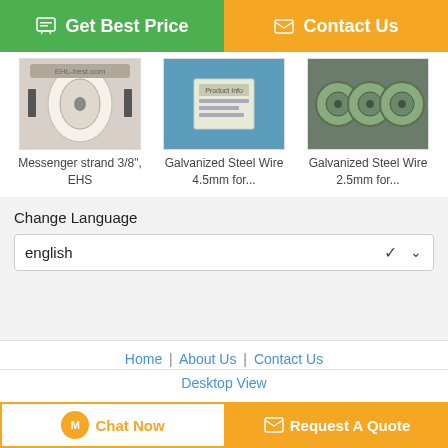[Figure (screenshot): Green 'Get Best Price' button with chat icon on the left, orange 'Contact Us' button with envelope icon on the right]
[Figure (photo): Product image: Messenger strand 3/8 inch EHS wire on a wooden spool]
Messenger strand 3/8", EHS
[Figure (photo): Product image: Galvanized Steel Wire 4.5mm for... on a blue background]
Galvanized Steel Wire 4.5mm for...
[Figure (photo): Product image: Galvanized Steel Wire 2.5mm for... coiled green wire]
Galvanized Steel Wire 2.5mm for...
Change Language
english
Home | About Us | Contact Us
Desktop View
China Galvanized steel wire Supplier. Copyright © 2016 - 2022 cablesdeacerogalvanizado-best.com. All rights reserved. Developed by ECER
[Figure (screenshot): Orange 'Chat Now' button and orange 'Request A Quote' button at the bottom]